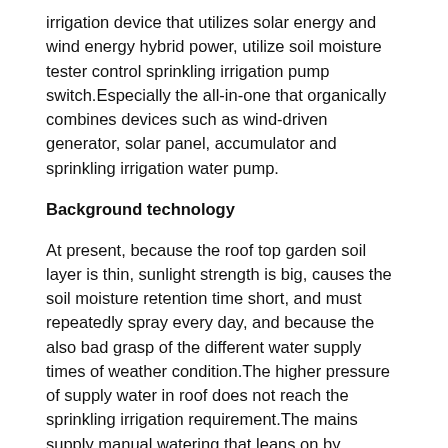irrigation device that utilizes solar energy and wind energy hybrid power, utilize soil moisture tester control sprinkling irrigation pump switch.Especially the all-in-one that organically combines devices such as wind-driven generator, solar panel, accumulator and sprinkling irrigation water pump.
Background technology
At present, because the roof top garden soil layer is thin, sunlight strength is big, causes the soil moisture retention time short, and must repeatedly spray every day, and because the also bad grasp of the different water supply times of weather condition.The higher pressure of supply water in roof does not reach the sprinkling irrigation requirement.The mains supply manual watering that leans on by traditional wastes very much electric power and manual work.But the roof is sunny, and wind-force is big.Traditional wind-power electricity generation and solar electrical energy generation of utilizing, equipment is many, volume is big, cost is high-leveled and difficult with equipment.National requirements low-carbon (LC) life now, energy savings adopts the solar wind-energy of cost free,